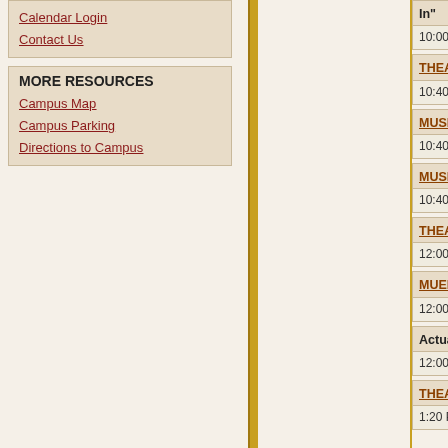Calendar Login
Contact Us
MORE RESOURCES
Campus Map
Campus Parking
Directions to Campus
In"
10:00 AM- 6:00 PM
THEA 322-1, Advanced Jazz Dan
10:40 AM-11:45 AM
MUSI 201-1, Music Theory III
10:40 AM-11:45 AM
MUSI 260-1, Jazz Harmony I
10:40 AM-11:45 AM
THEA 250-1, Acting Realism
12:00 PM- 1:05 PM
MUEN 101-1, Conce Choir
12:00 PM- 1:05 PM
Actuarial Science Club Study Hall
12:00 PM- 1:00 PM
THEA 150-1, Acting Fundamentals
1:20 PM- 2:25 PM